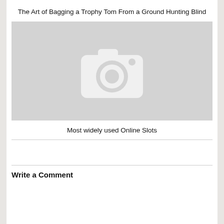The Art of Bagging a Trophy Tom From a Ground Hunting Blind
[Figure (photo): Placeholder image with camera icon on grey background]
Most widely used Online Slots
Write a Comment